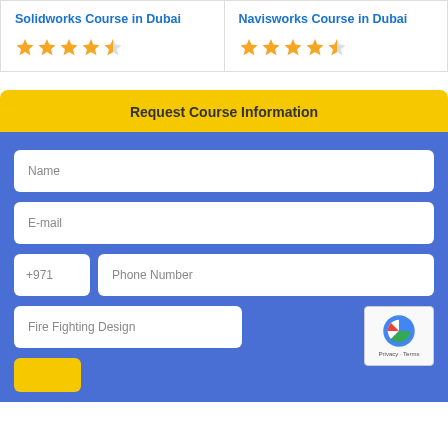Solidworks Course in Dubai
[Figure (other): Star rating: 4 full stars and 1 half star (orange)]
Navisworks Course in Dubai
[Figure (other): Star rating: 4 full stars and 1 half star (orange)]
Request Course Information
Name
E-mail
+971
Phone Number
Fire Fighting Design